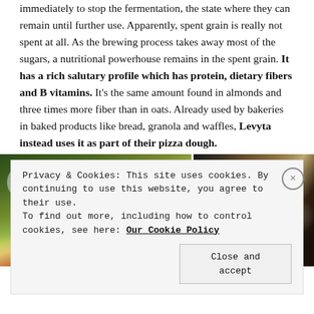immediately to stop the fermentation, the state where they can remain until further use. Apparently, spent grain is really not spent at all. As the brewing process takes away most of the sugars, a nutritional powerhouse remains in the spent grain. It has a rich salutary profile which has protein, dietary fibers and B vitamins. It's the same amount found in almonds and three times more fiber than in oats. Already used by bakeries in baked products like bread, granola and waffles, Levyta instead uses it as part of their pizza dough.
[Figure (photo): Two pizza photos side by side: left shows a rectangular pizza with colorful vegetable toppings (green, orange, yellow) on a wooden board; right shows a round pizza with white cheese and dark toppings on a wooden board.]
Privacy & Cookies: This site uses cookies. By continuing to use this website, you agree to their use. To find out more, including how to control cookies, see here: Our Cookie Policy